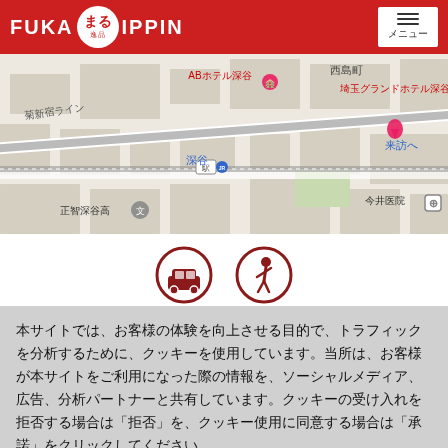FUKA まる IPPIN ふか いっぴん
[Figure (map): Google map showing area around Fukaya station (深谷駅), including ABホテル深谷, 西島町, 埼玉グランドホテル深谷, 正智深谷高, 今井医院 landmarks]
[Figure (illustration): Two circular icons with dark red outlines: a car icon and a walking person icon, representing travel modes]
本サイトでは、お客様の体験を向上させる目的で、トラフィックを分析するために、クッキーを使用しています。当所は、お客様が本サイトをご利用になった際の情報を、ソーシャルメディア、広告、分析パートナーと共有しています。クッキーの受け入れを拒否する場合は「拒否」を、クッキー使用に同意する場合は「承諾」をクリックしてください。
拒否
承諾